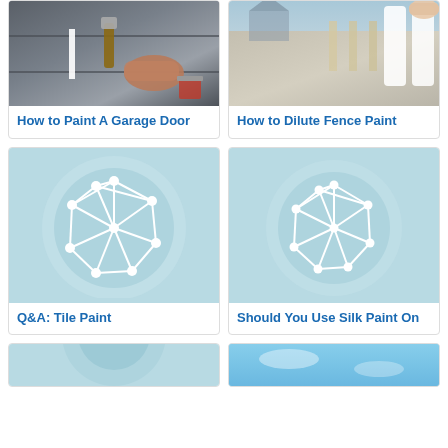[Figure (photo): Hand painting a garage door with a brush]
How to Paint A Garage Door
[Figure (photo): Person diluting or applying white paint on a wooden fence]
How to Dilute Fence Paint
[Figure (illustration): Light blue circle with white network/mesh polygon icon]
Q&A: Tile Paint
[Figure (illustration): Light blue circle with white network/mesh polygon icon]
Should You Use Silk Paint On
[Figure (illustration): Partial light blue circle with white network icon (bottom, cropped)]
[Figure (photo): Partial blue sky photo (bottom right, cropped)]